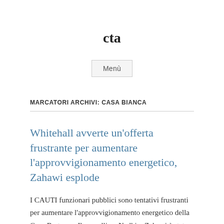cta
[Figure (other): Menu button labeled 'Menù']
MARCATORI ARCHIVI: CASA BIANCA
Whitehall avverte un'offerta frustrante per aumentare l'approvvigionamento energetico, Zahawi esplode
I CAUTI funzionari pubblici sono tentativi frustranti per aumentare l'approvvigionamento energetico della Gran Bretagna. Il cancelliere Nadhim Zahawi è stato esploso ieri.